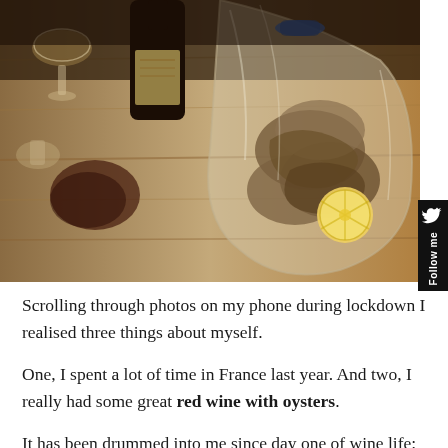[Figure (photo): Overhead photo of oysters in a clear plastic bag with a lemon slice, wine bottle and wine glass on a wooden table. A dark wine stain is visible on the table.]
Scrolling through photos on my phone during lockdown I realised three things about myself.
One, I spent a lot of time in France last year. And two, I really had some great red wine with oysters.
It has been drummed into me since day one of wine life: